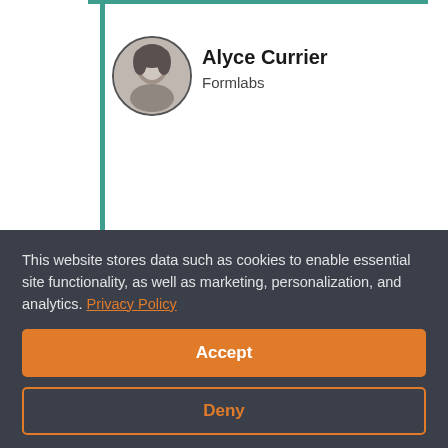[Figure (photo): Profile photo of Alyce Currier, circular avatar, black and white]
Alyce Currier
Formlabs
[Figure (other): Clock/timer icon]
Get rid of dialup and upgrade to broadband printing
[Figure (photo): Profile photo of Kevin McAlea, circular avatar]
Kevin McAlea
This website stores data such as cookies to enable essential site functionality, as well as marketing, personalization, and analytics. Privacy Policy
Accept
Deny